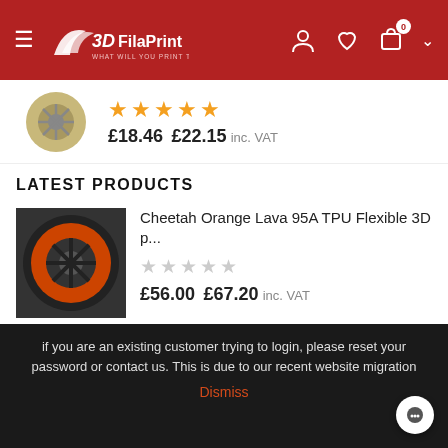3DFilaPrint — WHAT WILL YOU PRINT TODAY?
[Figure (photo): Partial product image showing a filament spool]
★★★★★ £18.46 £22.15 inc. VAT
LATEST PRODUCTS
Cheetah Orange Lava 95A TPU Flexible 3D p...
☆☆☆☆☆ £56.00 £67.20 inc. VAT
Cheetah Snow White 95A TPU Flexible 3D pri...
☆☆☆☆☆ £35.90 £43.08 inc. VAT
Cheetah Red Fire 95A TPU Flexible 3D printin...
if you are an existing customer trying to login, please reset your password or contact us. This is due to our recent website migration
Dismiss